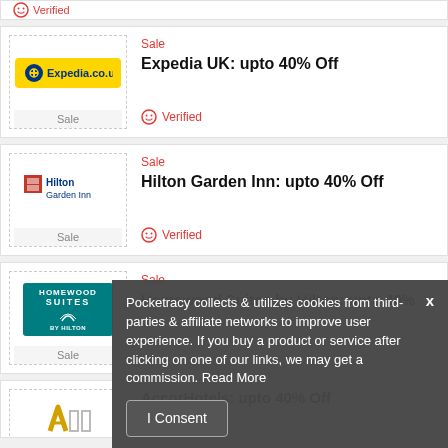Verified
Sale
Expedia UK: upto 40% Off
Verified
Sale
Hilton Garden Inn: upto 40% Off
Verified
Sale
Homewood Suites by Hilton: upto 40% Off
Pocketracy collects & utilizes cookies from third-parties & affiliate networks to improve user experience. If you buy a product or service after clicking on one of our links, we may get a commission. Read More
I Consent
AccorHotels: upto 40% Off